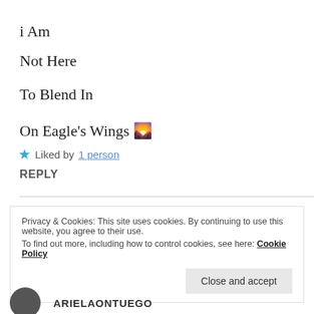i Am
Not Here
To Blend In
On Eagle's Wings 🌄
★ Liked by 1 person
REPLY
Privacy & Cookies: This site uses cookies. By continuing to use this website, you agree to their use.
To find out more, including how to control cookies, see here: Cookie Policy
Close and accept
ARIELAONTUEGO